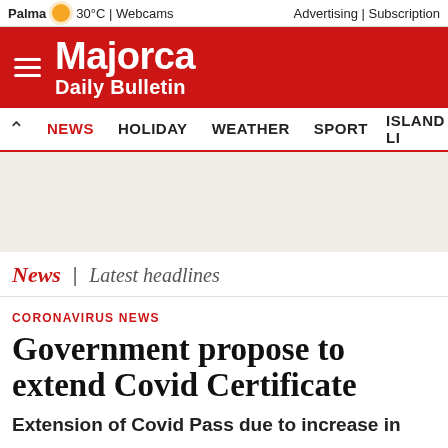Palma 30°C | Webcams   Advertising | Subscription
Majorca Daily Bulletin
NEWS   HOLIDAY   WEATHER   SPORT   ISLAND LI…
News | Latest headlines
CORONAVIRUS NEWS
Government propose to extend Covid Certificate
Extension of Covid Pass due to increase in